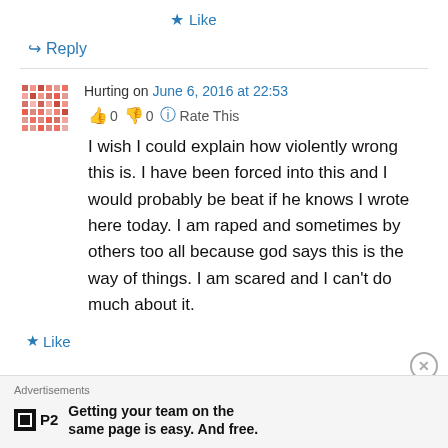★ Like
↪ Reply
Hurting on June 6, 2016 at 22:53
👍 0 👎 0 ℹ Rate This
I wish I could explain how violently wrong this is. I have been forced into this and I would probably be beat if he knows I wrote here today. I am raped and sometimes by others too all because god says this is the way of things. I am scared and I can't do much about it.
★ Like
Advertisements
Getting your team on the same page is easy. And free.